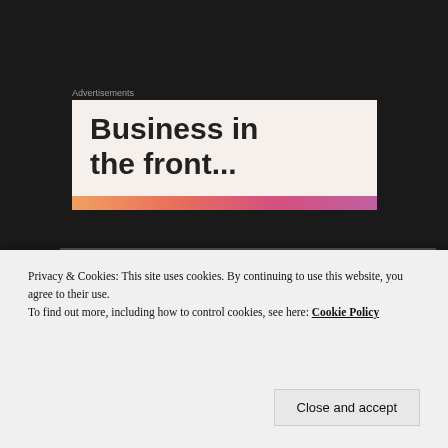Advertisements
[Figure (illustration): Advertisement banner with bold text 'Business in the front...' on a light beige background with a colorful gradient stripe at the bottom in orange, pink, and purple tones.]
[Figure (photo): Blurry photograph showing dark and light tones, appears to be an outdoor or animal scene.]
Privacy & Cookies: This site uses cookies. By continuing to use this website, you agree to their use.
To find out more, including how to control cookies, see here: Cookie Policy
Close and accept